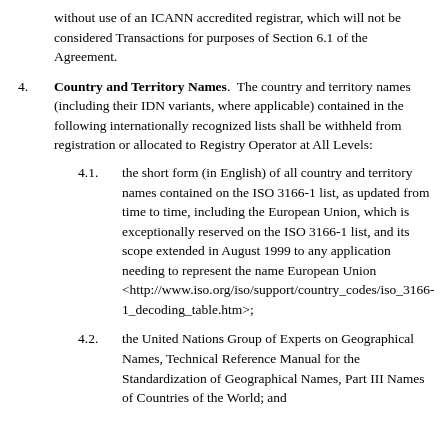Operator may sell and allow New ICANN names without use of an ICANN accredited registrar, which will not be considered Transactions for purposes of Section 6.1 of the Agreement.
4. Country and Territory Names. The country and territory names (including their IDN variants, where applicable) contained in the following internationally recognized lists shall be withheld from registration or allocated to Registry Operator at All Levels:
4.1. the short form (in English) of all country and territory names contained on the ISO 3166-1 list, as updated from time to time, including the European Union, which is exceptionally reserved on the ISO 3166-1 list, and its scope extended in August 1999 to any application needing to represent the name European Union <http://www.iso.org/iso/support/country_codes/iso_3166-1_decoding_table.htm>;
4.2. the United Nations Group of Experts on Geographical Names, Technical Reference Manual for the Standardization of Geographical Names, Part III Names of Countries of the World; and